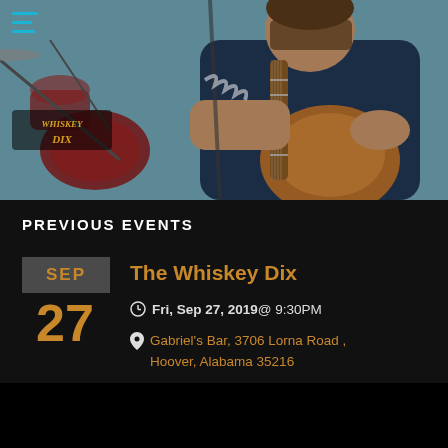[Figure (photo): A man playing an acoustic guitar on stage with drums visible in the background. The scene is a live music performance setting. A hamburger menu icon and band logo overlay the photo.]
PREVIOUS EVENTS
SEP
27
The Whiskey Dix
Fri, Sep 27, 2019 @ 9:30PM
Gabriel's Bar, 3706 Lorna Road , Hoover, Alabama 35216